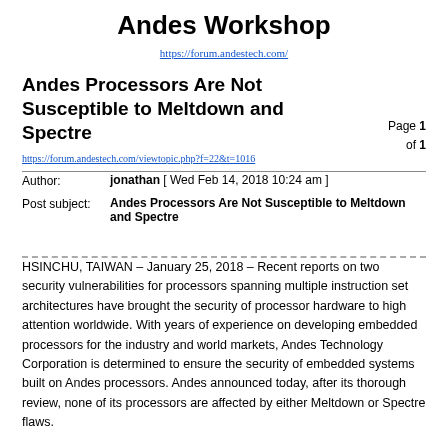Andes Workshop
https://forum.andestech.com/
Andes Processors Are Not Susceptible to Meltdown and Spectre
Page 1
of 1
https://forum.andestech.com/viewtopic.php?f=22&t=1016
Author:	jonathan [ Wed Feb 14, 2018 10:24 am ]
Post subject:	Andes Processors Are Not Susceptible to Meltdown and Spectre
HSINCHU, TAIWAN – January 25, 2018 – Recent reports on two security vulnerabilities for processors spanning multiple instruction set architectures have brought the security of processor hardware to high attention worldwide. With years of experience on developing embedded processors for the industry and world markets, Andes Technology Corporation is determined to ensure the security of embedded systems built on Andes processors. Andes announced today, after its thorough review, none of its processors are affected by either Meltdown or Spectre flaws.